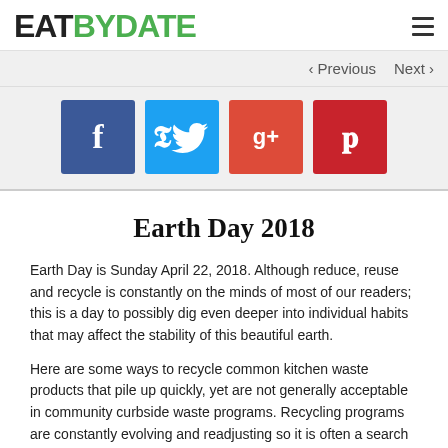EATBYDATE
< Previous   Next >
[Figure (infographic): Four social media share buttons: Facebook (blue), Twitter (light blue), Google+ (red-orange), Pinterest (dark red)]
Earth Day 2018
Earth Day is Sunday April 22, 2018. Although reduce, reuse and recycle is constantly on the minds of most of our readers; this is a day to possibly dig even deeper into individual habits that may affect the stability of this beautiful earth.
Here are some ways to recycle common kitchen waste products that pile up quickly, yet are not generally acceptable in community curbside waste programs. Recycling programs are constantly evolving and readjusting so it is often a search to find out what goes where, but the earth is worth effort.